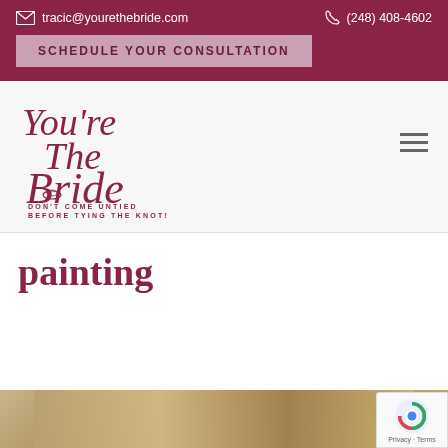tracic@yourethebride.com  (248) 408-4602
SCHEDULE YOUR CONSULTATION
[Figure (logo): You're The Bride script logo with tagline: DON'T COME UNTIED BEFORE TYING THE KNOT!]
painting
[Figure (photo): Partial view of a room interior, bottom strip of the page]